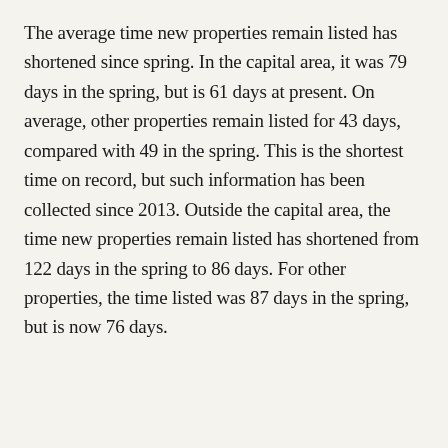The average time new properties remain listed has shortened since spring. In the capital area, it was 79 days in the spring, but is 61 days at present. On average, other properties remain listed for 43 days, compared with 49 in the spring. This is the shortest time on record, but such information has been collected since 2013. Outside the capital area, the time new properties remain listed has shortened from 122 days in the spring to 86 days. For other properties, the time listed was 87 days in the spring, but is now 76 days.
Real Estate
RELATED NEWS